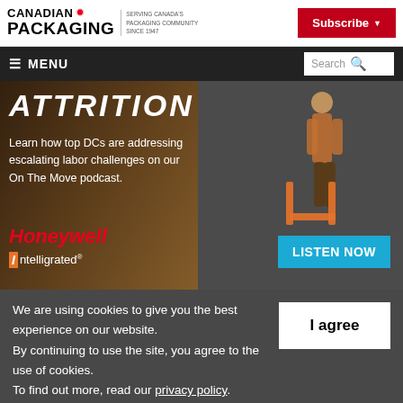CANADIAN PACKAGING — Serving Canada's Packaging Community Since 1947
[Figure (screenshot): Subscribe button (red background) in header]
≡ MENU | Search
[Figure (infographic): Honeywell Intelligrated advertisement banner: ATTRITION — Learn how top DCs are addressing escalating labor challenges on our On The Move podcast. Honeywell Intelligrated. LISTEN NOW button.]
We are using cookies to give you the best experience on our website.
By continuing to use the site, you agree to the use of cookies.
To find out more, read our privacy policy.
I agree